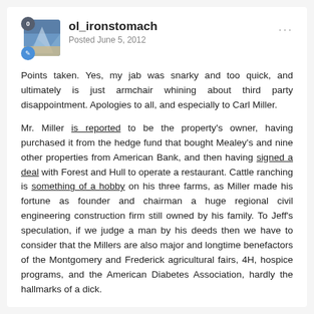ol_ironstomach
Posted June 5, 2012
Points taken. Yes, my jab was snarky and too quick, and ultimately is just armchair whining about third party disappointment. Apologies to all, and especially to Carl Miller.
Mr. Miller is reported to be the property's owner, having purchased it from the hedge fund that bought Mealey's and nine other properties from American Bank, and then having signed a deal with Forest and Hull to operate a restaurant. Cattle ranching is something of a hobby on his three farms, as Miller made his fortune as founder and chairman a huge regional civil engineering construction firm still owned by his family. To Jeff's speculation, if we judge a man by his deeds then we have to consider that the Millers are also major and longtime benefactors of the Montgomery and Frederick agricultural fairs, 4H, hospice programs, and the American Diabetes Association, hardly the hallmarks of a dick.